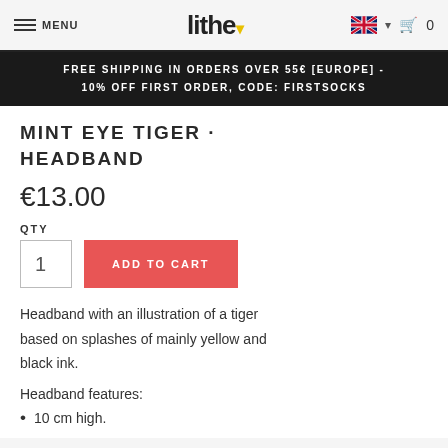MENU | lithe | 🇬🇧 ▾ | 🛒 0
FREE SHIPPING IN ORDERS OVER 55€ [EUROPE] - 10% OFF FIRST ORDER, CODE: FIRSTSOCKS
MINT EYE TIGER · HEADBAND
€13.00
QTY
1
ADD TO CART
Headband with an illustration of a tiger based on splashes of mainly yellow and black ink.
Headband features:
10 cm high.